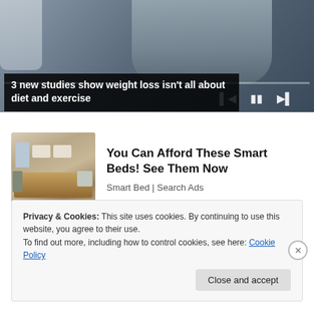[Figure (screenshot): Video thumbnail showing a person sitting, with playback controls and progress bar overlay]
3 new studies show weight loss isn't all about diet and exercise
[Figure (photo): Smart bed advertisement image showing a feature-rich bed]
You Can Afford These Smart Beds! See Them Now
Smart Bed | Search Ads
Privacy & Cookies: This site uses cookies. By continuing to use this website, you agree to their use.
To find out more, including how to control cookies, see here: Cookie Policy
Close and accept